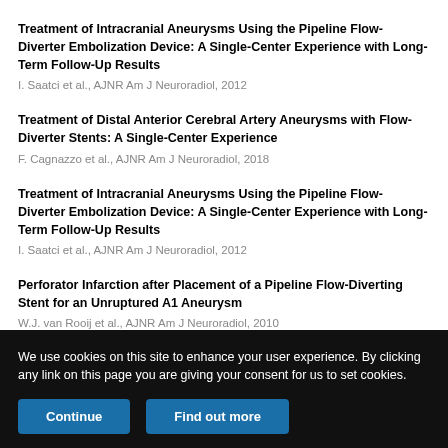Treatment of Intracranial Aneurysms Using the Pipeline Flow-Diverter Embolization Device: A Single-Center Experience with Long-Term Follow-Up Results
I. Saatci et al., AJNR Am J Neuroradiol, 2012
Treatment of Distal Anterior Cerebral Artery Aneurysms with Flow-Diverter Stents: A Single-Center Experience
F. Cagnazzo et al., AJNR Am J Neuroradiol, 2018
Treatment of Intracranial Aneurysms Using the Pipeline Flow-Diverter Embolization Device: A Single-Center Experience with Long-Term Follow-Up Results
I. Saatci et al., AJNR Am J Neuroradiol, 2012
Perforator Infarction after Placement of a Pipeline Flow-Diverting Stent for an Unruptured A1 Aneurysm
W.J. van Rooij et al., AJNR Am J Neuroradiol, 2010
We use cookies on this site to enhance your user experience. By clicking any link on this page you are giving your consent for us to set cookies.